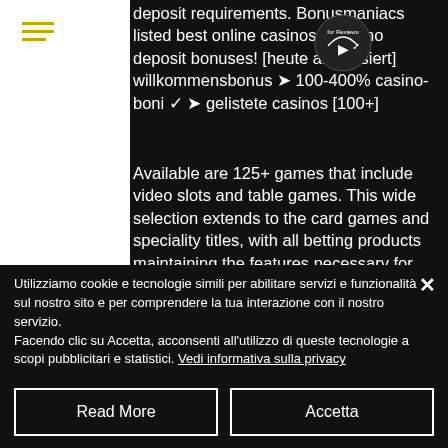[Figure (screenshot): Website screenshot showing casino content with hamburger menu icon in yellow on white sidebar, a circular logo/badge overlay, and white text on dark background describing casino bonuses and games.]
deposit requirements. Bonusmaniacs listed best online casinos full of no deposit bonuses! [heute aktualisiert] willkommensbonus ➤ 100-400% casino-boni ✓ ➤ gelistete casinos [100+]
Available are 125+ games that include video slots and table games. This wide selection extends to the card games and speciality titles, with all betting products maintaining the features necessary for professional gameplay, live bitcoin roulette welcome bonus. For the registration information
Utilizziamo cookie e tecnologie simili per abilitare servizi e funzionalità sul nostro sito e per comprendere la tua interazione con il nostro servizio.
Facendo clic su Accetta, acconsenti all'utilizzo di queste tecnologie a scopi pubblicitari e statistici. Vedi informativa sulla privacy
Read More
Accetta